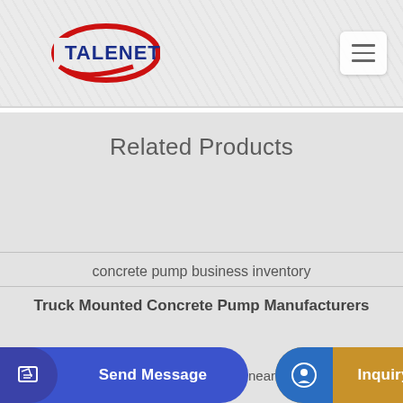[Figure (logo): TALENET company logo — red oval swoosh with blue bold text TALENET]
[Figure (screenshot): Hamburger menu button (three horizontal lines) in top-right corner]
Related Products
concrete pump business inventory
Truck Mounted Concrete Pump Manufacturers
near
[Figure (screenshot): Send Message button — blue rounded button with edit icon]
[Figure (screenshot): Inquiry Online button — gold/tan rounded button with headset icon]